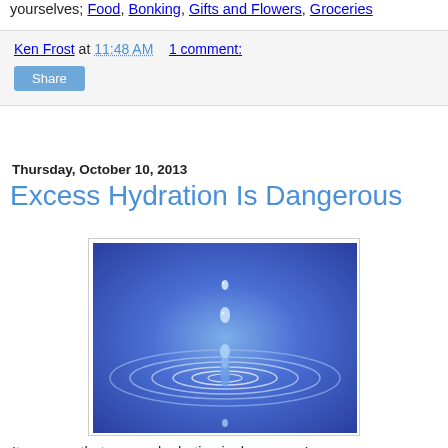yourselves; Food, Bonking, Gifts and Flowers, Groceries
Ken Frost at 11:48 AM   1 comment:
Share
Thursday, October 10, 2013
Excess Hydration Is Dangerous
[Figure (photo): A water droplet falling into blue water creating circular ripples, photographed from above against a vivid blue background.]
It appears that excess hydration is dangerous!
Humans evolved doing intense exercise in extreme heat and